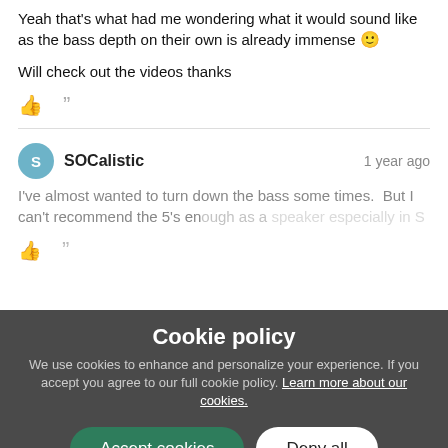Yeah that's what had me wondering what it would sound like as the bass depth on their own is already immense 🙂
Will check out the videos thanks
SOCalistic
1 year ago
I've almost wanted to turn down the bass some times.  But I can't recommend the 5's enough as a speaker especially in S...
Cookie policy
We use cookies to enhance and personalize your experience. If you accept you agree to our full cookie policy. Learn more about our cookies.
Accept cookies
Deny all
Page 6 / 7
Cookie settings